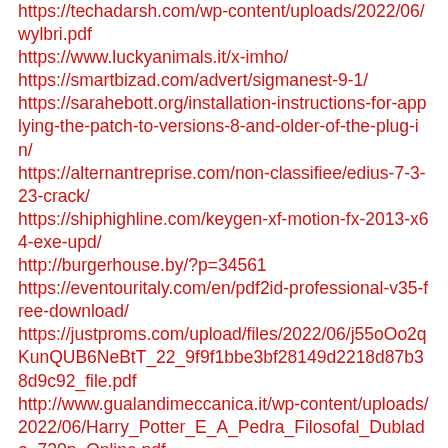https://techadarsh.com/wp-content/uploads/2022/06/wylbri.pdf
https://www.luckyanimals.it/x-imho/
https://smartbizad.com/advert/sigmanest-9-1/
https://sarahebott.org/installation-instructions-for-applying-the-patch-to-versions-8-and-older-of-the-plug-in/
https://alternantreprise.com/non-classifiee/edius-7-3-23-crack/
https://shiphighline.com/keygen-xf-motion-fx-2013-x64-exe-upd/
http://burgerhouse.by/?p=34561
https://eventouritaly.com/en/pdf2id-professional-v35-free-download/
https://justproms.com/upload/files/2022/06/j55oOo2qKunQUB6NeBtT_22_9f9f1bbe3bf28149d2218d87b38d9c92_file.pdf
http://www.gualandimeccanica.it/wp-content/uploads/2022/06/Harry_Potter_E_A_Pedra_Filosofal_Dublado_720p_Online.pdf
https://happyfarmer.clickhost.nl/advert/daemon-tools-lite-offline-installer-10-11-0-1001-portable/
http://tekbaz.com/2022/06/22/buku-tahunan-sekolah-dr-